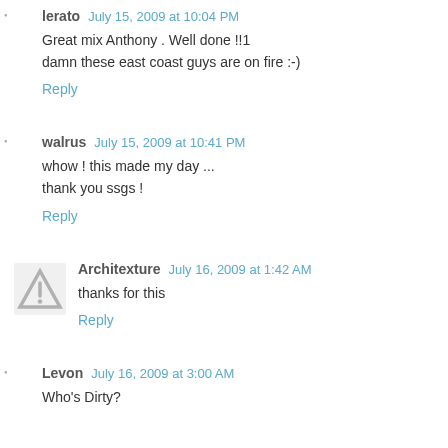lerato  July 15, 2009 at 10:04 PM
Great mix Anthony . Well done !!1
damn these east coast guys are on fire :-)
Reply
walrus  July 15, 2009 at 10:41 PM
whow ! this made my day ...
thank you ssgs !
Reply
Architexture  July 16, 2009 at 1:42 AM
thanks for this
Reply
Levon  July 16, 2009 at 3:00 AM
Who's Dirty?